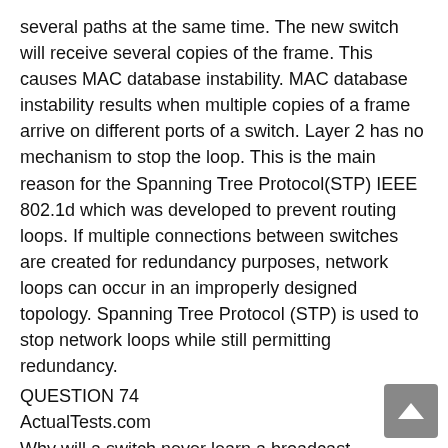several paths at the same time. The new switch will receive several copies of the frame. This causes MAC database instability. MAC database instability results when multiple copies of a frame arrive on different ports of a switch. Layer 2 has no mechanism to stop the loop. This is the main reason for the Spanning Tree Protocol(STP) IEEE 802.1d which was developed to prevent routing loops. If multiple connections between switches are created for redundancy purposes, network loops can occur in an improperly designed topology. Spanning Tree Protocol (STP) is used to stop network loops while still permitting redundancy.
QUESTION 74
ActualTests.com
Why will a switch never learn a broadcast address?
A. Broadcasts only use network layer addressing.
B. Broadcast addresses use an incorrect format for the switching table.